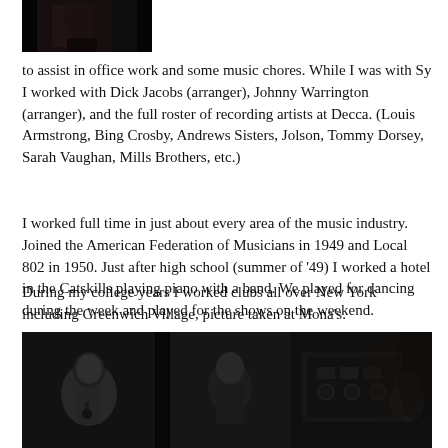[Figure (photo): Partial black and white photograph at top of page, cropped, showing a person partially visible]
to assist in office work and some music chores. While I was with Sy I worked with Dick Jacobs (arranger), Johnny Warrington (arranger), and the full roster of recording artists at Decca. (Louis Armstrong, Bing Crosby, Andrews Sisters, Jolson, Tommy Dorsey, Sarah Vaughan, Mills Brothers, etc.)
I worked full time in just about every area of the music industry. Joined the American Federation of Musicians in 1949 and Local 802 in 1950. Just after high school (summer of '49) I worked a hotel in the Catskills playing piano with a band. We played for dancing during the week and played for the shows on the weekend.
During my college years I worked clubs all over New York including Greenwich Village, picture taken at Mona's.
[Figure (photo): Black and white photograph showing people at what appears to be a club or venue, taken at Mona's in Greenwich Village. Three figures visible, with equipment visible on the right.]